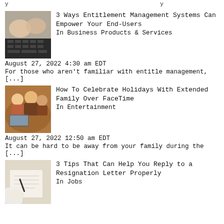y ... y ... [...]
[Figure (photo): Hands typing on a laptop keyboard, close-up view]
3 Ways Entitlement Management Systems Can Empower Your End-Users
In Business Products & Services
August 27, 2022 4:30 am EDT
For those who aren't familiar with entitle management, [...]
[Figure (photo): Family with child waving at a laptop screen over FaceTime, holiday setting]
How To Celebrate Holidays With Extended Family Over FaceTime
In Entertainment
August 27, 2022 12:50 am EDT
It can be hard to be away from your family during the [...]
[Figure (photo): Person writing with a pen on paper, close-up of hand and document]
3 Tips That Can Help You Reply to a Resignation Letter Properly
In Jobs